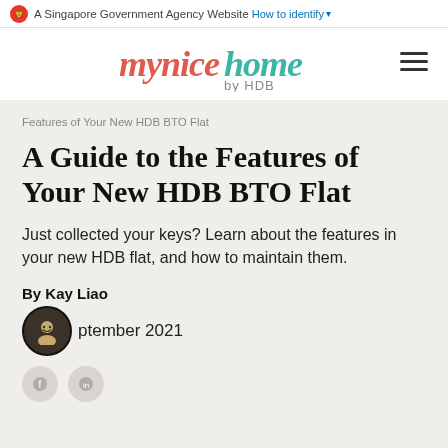A Singapore Government Agency Website  How to identify ▾
[Figure (logo): mynicehome by HDB logo — 'mynice' in red script, 'home' in teal script, 'by HDB' in grey below]
Features of Your New HDB BTO Flat
A Guide to the Features of Your New HDB BTO Flat
Just collected your keys? Learn about the features in your new HDB flat, and how to maintain them.
By Kay Liao
September 2021